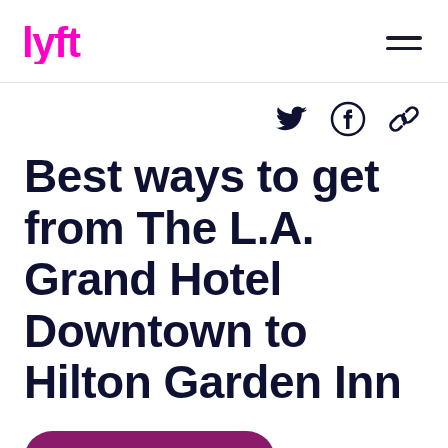Lyft logo and navigation menu
[Figure (logo): Lyft pink logo and hamburger menu navigation icon]
[Figure (infographic): Social sharing icons: Twitter bird, Facebook circle, and link/chain icon]
Best ways to get from The L.A. Grand Hotel Downtown to Hilton Garden Inn
Download the app